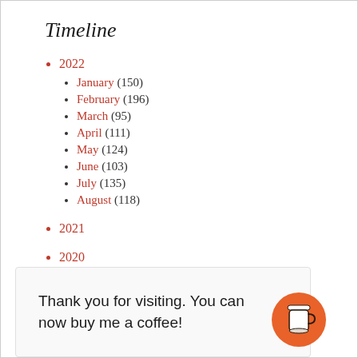Timeline
2022
January (150)
February (196)
March (95)
April (111)
May (124)
June (103)
July (135)
August (118)
2021
2020
Thank you for visiting. You can now buy me a coffee!